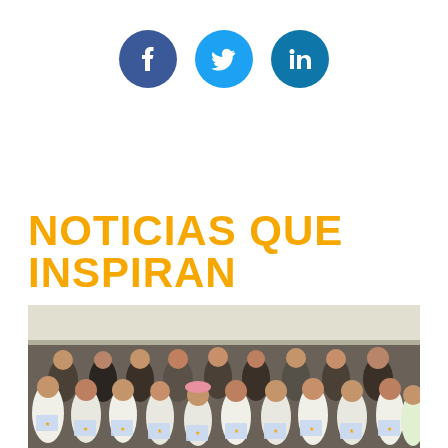[Figure (infographic): Three social media icons as colored circles: Facebook (dark blue), Twitter (light blue), LinkedIn (teal blue)]
NOTICIAS QUE INSPIRAN
[Figure (photo): Group photo of approximately 20 young people, many wearing white t-shirts and holding certificates or papers, posing together indoors]